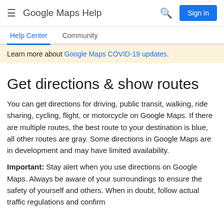Google Maps Help
Help Center   Community
Learn more about Google Maps COVID-19 updates.
Get directions & show routes
You can get directions for driving, public transit, walking, ride sharing, cycling, flight, or motorcycle on Google Maps. If there are multiple routes, the best route to your destination is blue, all other routes are gray. Some directions in Google Maps are in development and may have limited availability.
Important: Stay alert when you use directions on Google Maps. Always be aware of your surroundings to ensure the safety of yourself and others. When in doubt, follow actual traffic regulations and confirm